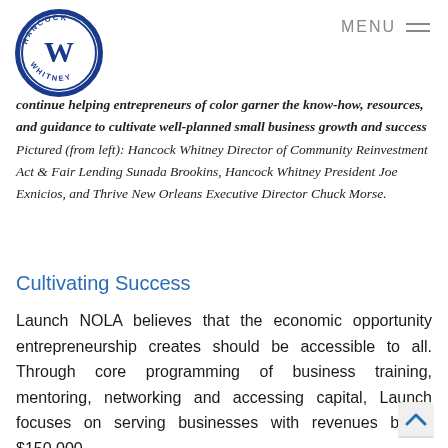MENU
[Figure (logo): Hancock Whitney circular logo with blue border and stylized 'W' in center]
continue helping entrepreneurs of color garner the know-how, resources, and guidance to cultivate well-planned small business growth and success Pictured (from left): Hancock Whitney Director of Community Reinvestment Act & Fair Lending Sunada Brookins, Hancock Whitney President Joe Exnicios, and Thrive New Orleans Executive Director Chuck Morse.
Cultivating Success
Launch NOLA believes that the economic opportunity entrepreneurship creates should be accessible to all. Through core programming of business training, mentoring, networking and accessing capital, Launch focuses on serving businesses with revenues below $150,000.